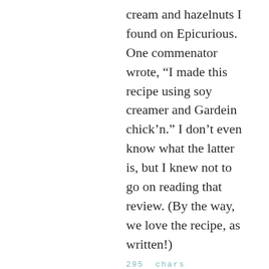cream and hazelnuts I found on Epicurious. One commenator wrote, “I made this recipe using soy creamer and Gardein chick’n.” I don’t even know what the latter is, but I knew not to go on reading that review. (By the way, we love the recipe, as written!)
295 chars
paddyo' said on January 20, 2011 at 4:01 pm

Why I Like NN.C, Thursday, Jan. 20 p.m. edition:
The Extra 72-Virgin Spanish Urine Mercury and Venus First Guns, that’s